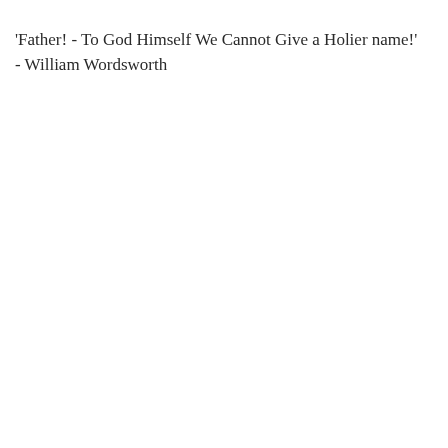'Father! - To God Himself We Cannot Give a Holier name!' - William Wordsworth